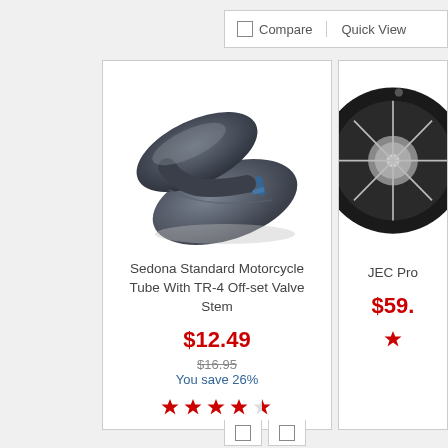Compare | Quick View
[Figure (photo): Sedona Standard Motorcycle Tube folded, dark gray rubber with blue valve stem detail]
Sedona Standard Motorcycle Tube With TR-4 Off-set Valve Stem
$12.49
$16.95 You save 26%
[Figure (photo): JEC Pro partial product image showing a motorcycle wheel/tire rim, partially visible on right side]
JEC Pro
$59.